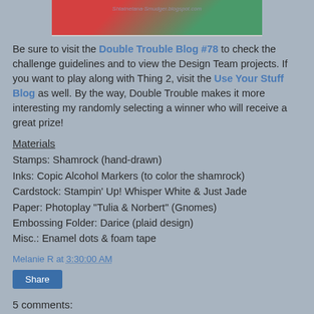[Figure (photo): Partial view of a crafted holiday card image showing red and green colors with a watermark text 'Shtatnetana Smudger. blogspot.com']
Be sure to visit the Double Trouble Blog #78 to check the challenge guidelines and to view the Design Team projects. If you want to play along with Thing 2, visit the Use Your Stuff Blog as well. By the way, Double Trouble makes it more interesting my randomly selecting a winner who will receive a great prize!
Materials
Stamps: Shamrock (hand-drawn)
Inks: Copic Alcohol Markers (to color the shamrock)
Cardstock: Stampin' Up! Whisper White & Just Jade
Paper: Photoplay "Tulia & Norbert" (Gnomes)
Embossing Folder: Darice (plaid design)
Misc.: Enamel dots & foam tape
Melanie R at 3:30:00 AM
Share
5 comments: